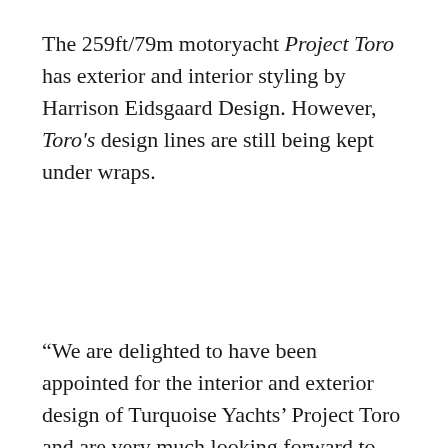The 259ft/79m motoryacht Project Toro has exterior and interior styling by Harrison Eidsgaard Design. However, Toro's design lines are still being kept under wraps.
“We are delighted to have been appointed for the interior and exterior design of Turquoise Yachts’ Project Toro and are very much looking forward to our collaboration with this outstanding yard.” states Ben Harrison of